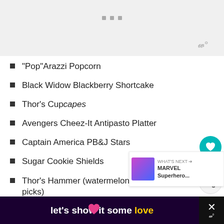[Figure (screenshot): Advertisement banner at top of page with three gray dots and a gray logo in bottom-right corner]
“Pop”Arazzi Popcorn
Black Widow Blackberry Shortcake
Thor’s Cupcapes
Avengers Cheez-It Antipasto Platter
Captain America PB&J Stars
Sugar Cookie Shields
Thor’s Hammer (watermelon cubes with colorful picks)
Smashing Pistachio Pudding Parfait
[Figure (screenshot): Bottom advertisement banner with dark purple background reading 'let's show it some love' with yellow 'love' and a heart graphic, and an X close button with logo on the right]